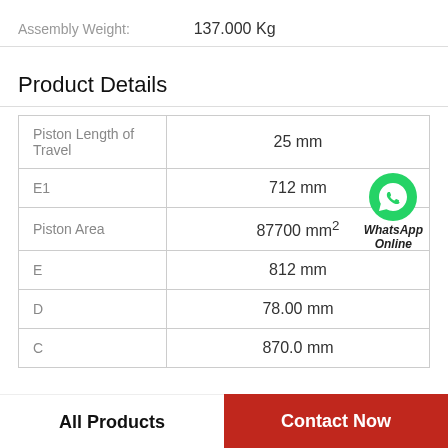Assembly Weight: 137.000 Kg
Product Details
| Parameter | Value |
| --- | --- |
| Piston Length of Travel | 25 mm |
| E1 | 712 mm |
| Piston Area | 87700 mm² |
| E | 812 mm |
| D | 78.00 mm |
| C | 870.0 mm |
[Figure (logo): WhatsApp Online badge with green circle and phone icon, with text 'WhatsApp Online']
All Products
Contact Now